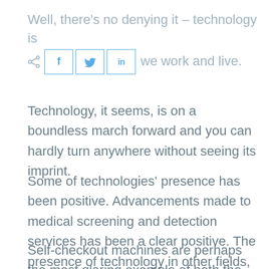Well, there's no denying it – technology is changing the way we work and live.
[Figure (other): Social sharing buttons: share icon, Facebook (f), Twitter (bird icon), LinkedIn (in)]
Technology, it seems, is on a boundless march forward and you can hardly turn anywhere without seeing its imprint.
Some of technologies' presence has been positive. Advancements made to medical screening and detection services has been a clear positive. The presence of technology in other fields, however, has brought more dubious change.
Self-checkout machines are perhaps the most glaring example of both the automation we